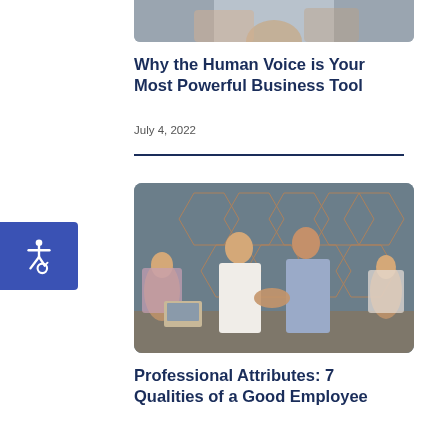[Figure (photo): Cropped bottom portion of a photo showing people, partially visible at the top of the page]
Why the Human Voice is Your Most Powerful Business Tool
July 4, 2022
[Figure (photo): Two men shaking hands and smiling in an office setting with geometric patterned wall background; two women applauding in the background]
Professional Attributes: 7 Qualities of a Good Employee